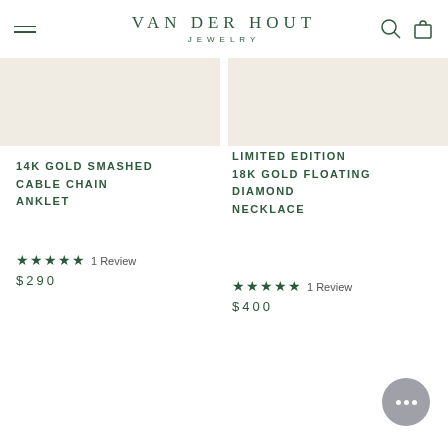VAN DER HOUT JEWELRY
14K GOLD SMASHED CABLE CHAIN ANKLET
★★★★★ 1 Review
$290
LIMITED EDITION 18K GOLD FLOATING DIAMOND NECKLACE
★★★★★ 1 Review
$400